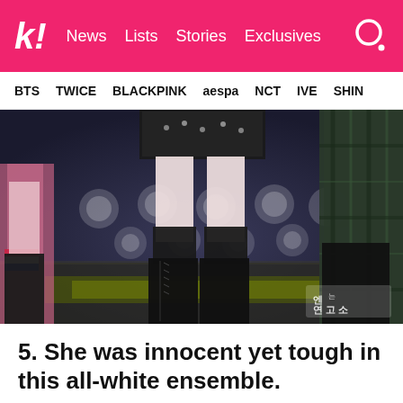K! News Lists Stories Exclusives
BTS TWICE BLACKPINK aespa NCT IVE SHIN
[Figure (photo): K-pop performance photo showing performers on stage in black outfits with high boots, bokeh stage lights in background, Korean broadcasting watermark visible in bottom right corner]
5. She was innocent yet tough in this all-white ensemble.